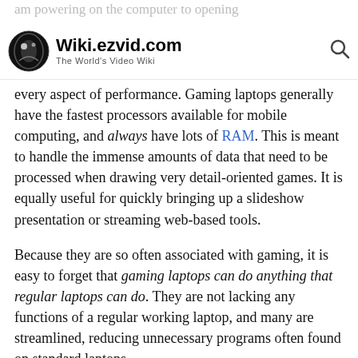Wiki.ezvid.com — The World's Video Wiki
every aspect of performance. Gaming laptops generally have the fastest processors available for mobile computing, and always have lots of RAM. This is meant to handle the immense amounts of data that need to be processed when drawing very detail-oriented games. It is equally useful for quickly bringing up a slideshow presentation or streaming web-based tools.
Because they are so often associated with gaming, it is easy to forget that gaming laptops can do anything that regular laptops can do. They are not lacking any functions of a regular working laptop, and many are streamlined, reducing unnecessary programs often found on standard laptops.